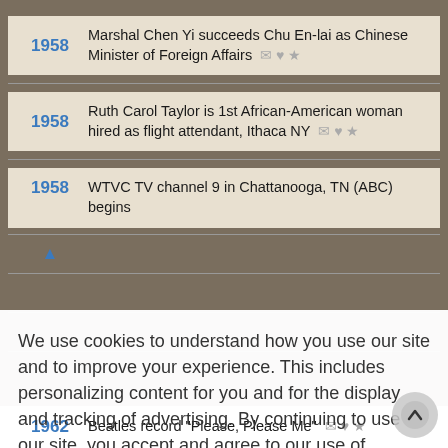1958 — Marshal Chen Yi succeeds Chu En-lai as Chinese Minister of Foreign Affairs
1958 — Ruth Carol Taylor is 1st African-American woman hired as flight attendant, Ithaca NY
1958 — WTVC TV channel 9 in Chattanooga, TN (ABC) begins
We use cookies to understand how you use our site and to improve your experience. This includes personalizing content for you and for the display and tracking of advertising. By continuing to use our site, you accept and agree to our use of cookies.  Privacy Policy
Got it!
1962 — Beatles record "Please, Please Me"